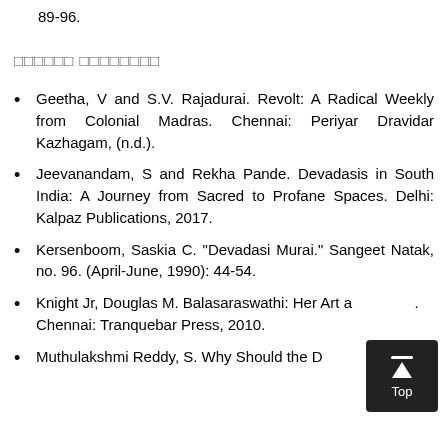89-96.
██████ ████████
Geetha, V and S.V. Rajadurai. Revolt: A Radical Weekly from Colonial Madras. Chennai: Periyar Dravidar Kazhagam, (n.d.).
Jeevanandam, S and Rekha Pande. Devadasis in South India: A Journey from Sacred to Profane Spaces. Delhi: Kalpaz Publications, 2017.
Kersenboom, Saskia C. "Devadasi Murai." Sangeet Natak, no. 96. (April-June, 1990): 44-54.
Knight Jr, Douglas M. Balasaraswathi: Her Art a[nd Life]. Chennai: Tranquebar Press, 2010.
Muthulakshmi Reddy, S. Why Should the Devadasi [...]